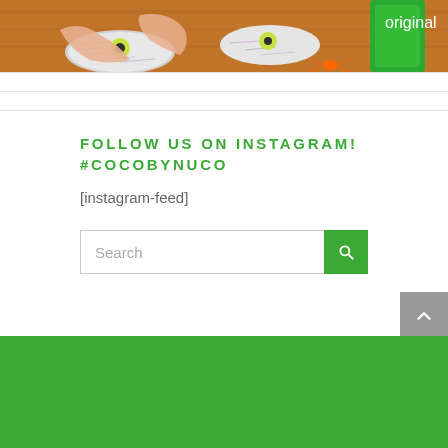[Figure (photo): Photo of hands decorating coconut-covered food items on a wooden board, with a green product bottle visible on the right and an orange spider decoration.]
FOLLOW US ON INSTAGRAM! #COCOBYNUCO
[instagram-feed]
Search